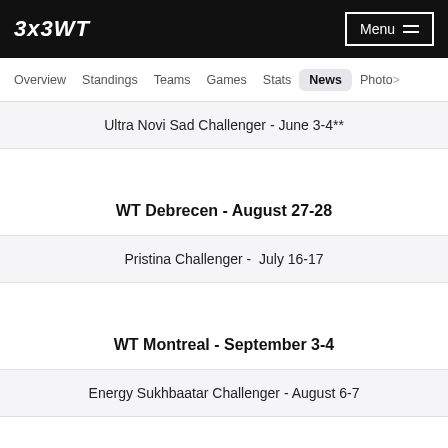3x3WT | Menu
Overview | Standings | Teams | Games | Stats | News | Photo>
Ultra Novi Sad Challenger - June 3-4**
WT Debrecen - August 27-28
Pristina Challenger -  July 16-17
WT Montreal - September 3-4
Energy Sukhbaatar Challenger - August 6-7